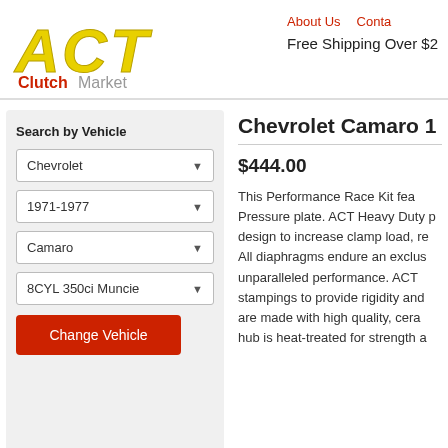[Figure (logo): ACT Clutch Market logo — stylized ACT in yellow/gold italic letters with 'Clutch' in red and 'Market' in gray below]
About Us   Contact   Free Shipping Over $2
Search by Vehicle
Chevrolet
1971-1977
Camaro
8CYL 350ci Muncie
Change Vehicle
Chevrolet Camaro 1
$444.00
This Performance Race Kit fea... Pressure plate. ACT Heavy Duty p... design to increase clamp load, re... All diaphragms endure an exclus... unparalleled performance. ACT stampings to provide rigidity and are made with high quality, cera... hub is heat-treated for strength a...